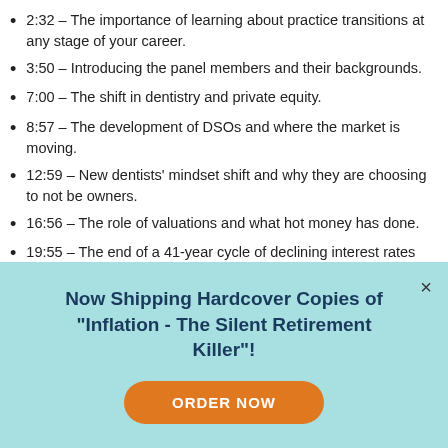2:32 – The importance of learning about practice transitions at any stage of your career.
3:50 – Introducing the panel members and their backgrounds.
7:00 – The shift in dentistry and private equity.
8:57 – The development of DSOs and where the market is moving.
12:59 – New dentists' mindset shift and why they are choosing to not be owners.
16:56 – The role of valuations and what hot money has done.
19:55 – The end of a 41-year cycle of declining interest rates and what comes after.
Now Shipping Hardcover Copies of "Inflation - The Silent Retirement Killer"!
ORDER NOW